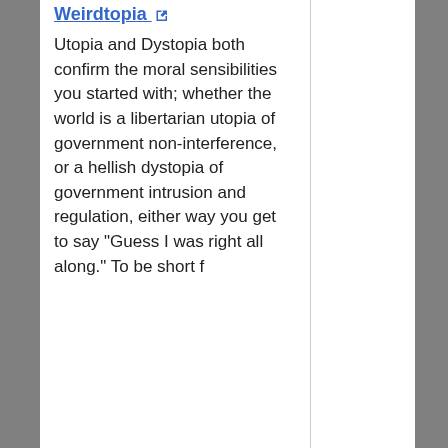Weirdtopia
Utopia and Dystopia both confirm the moral sensibilities you started with; whether the world is a libertarian utopia of government non-interference, or a hellish dystopia of government intrusion and regulation, either way you get to say "Guess I was right all along." To be short f